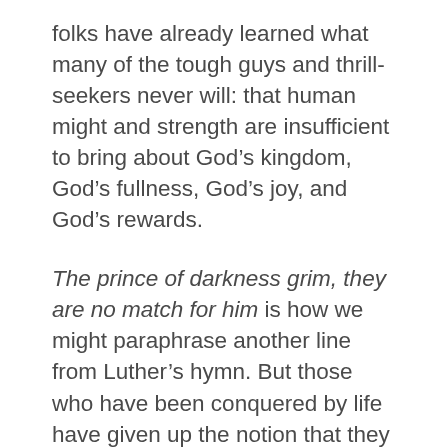folks have already learned what many of the tough guys and thrill-seekers never will: that human might and strength are insufficient to bring about God’s kingdom, God’s fullness, God’s joy, and God’s rewards.
The prince of darkness grim, they are no match for him is how we might paraphrase another line from Luther’s hymn. But those who have been conquered by life have given up the notion that they are their own “mighty fortress.” Their bulwarks have failed, and that makes them more open to receiving new life, the life of Christ, resurrection, eternal life. They live in the